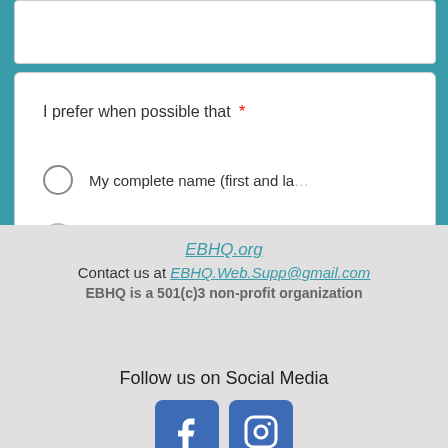I prefer when possible that *
My complete name (first and la…
First name only be used
EBHQ.org
Contact us at EBHQ.Web.Supp@gmail.com
EBHQ is a 501(c)3 non-profit organization
Follow us on Social Media
[Figure (other): Facebook and Instagram social media icon buttons]